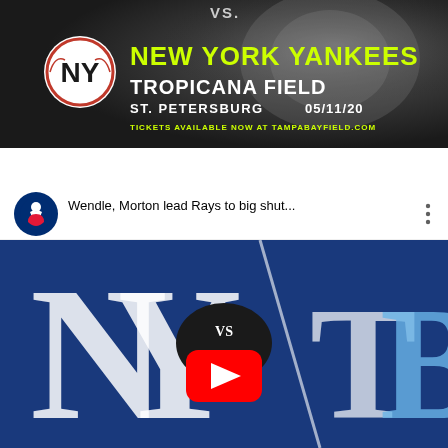[Figure (infographic): Tampa Bay Rays vs New York Yankees promotional banner. Dark background with blurred baseball. NY Yankees logo (circular black and white). Yellow text: NEW YORK YANKEES. White text: TROPICANA FIELD. ST. PETERSBURG 05/11/20. Small yellow text: TICKETS AVAILABLE NOW AT TAMPABAYFIELD.COM. VS. text at top.]
[Figure (screenshot): YouTube video thumbnail showing MLB video titled 'Wendle, Morton lead Rays to big shut...' with MLB logo on left and three-dot menu on right. Below is a thumbnail showing NY Yankees logo vs Tampa Bay Rays logo on blue background with VS in center and a YouTube play button overlay.]